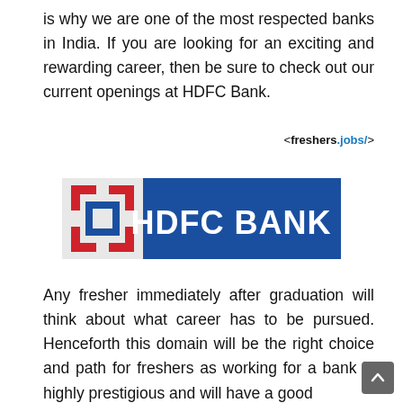is why we are one of the most respected banks in India. If you are looking for an exciting and rewarding career, then be sure to check out our current openings at HDFC Bank.
<freshers.jobs/>
[Figure (logo): HDFC Bank logo: red square bracket icon on left with square inside, followed by blue rectangle with white bold text HDFC BANK]
Any fresher immediately after graduation will think about what career has to be pursued. Henceforth this domain will be the right choice and path for freshers as working for a bank is highly prestigious and will have a good